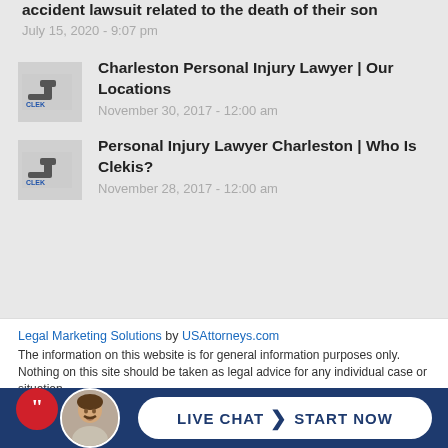accident lawsuit related to the death of their son
July 15, 2020 - 9:07 pm
Charleston Personal Injury Lawyer | Our Locations
November 30, 2017 - 12:00 am
Personal Injury Lawyer Charleston | Who Is Clekis?
November 28, 2017 - 12:00 am
Legal Marketing Solutions by USAttorneys.com
The information on this website is for general information purposes only. Nothing on this site should be taken as legal advice for any individual case or situation
Articles | What We Do | Who We Are | Contact Us
LIVE CHAT > START NOW